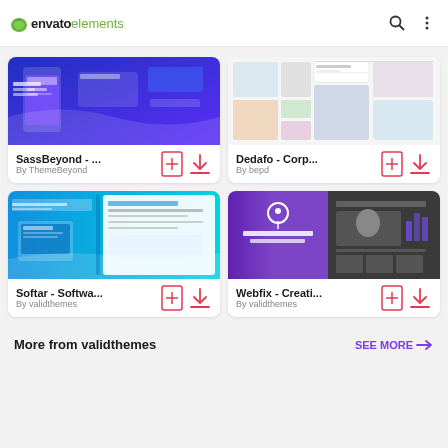envato elements
[Figure (screenshot): SassBeyond template preview - blue/purple gradient app landing page]
SassBeyond - ...
By ThemeBeyond
[Figure (screenshot): Dedafo Corp template preview - clean white business layout with image grid]
Dedafo - Corp...
By bepd
[Figure (screenshot): Softar Software landing page template preview - blue/teal gradient]
Softar - Softwa...
By validthemes
[Figure (screenshot): Webfix Creative Multipurpose Template preview - purple and dark layout]
Webfix - Creati...
By validthemes
More from validthemes
SEE MORE →